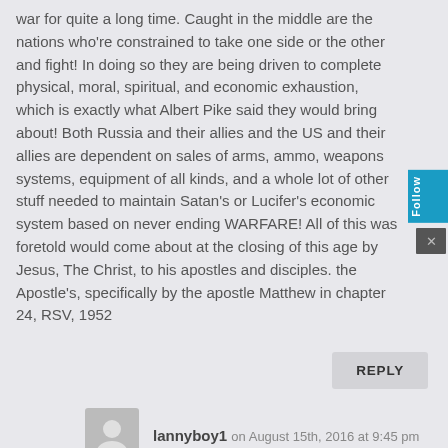war for quite a long time. Caught in the middle are the nations who're constrained to take one side or the other and fight! In doing so they are being driven to complete physical, moral, spiritual, and economic exhaustion, which is exactly what Albert Pike said they would bring about! Both Russia and their allies and the US and their allies are dependent on sales of arms, ammo, weapons systems, equipment of all kinds, and a whole lot of other stuff needed to maintain Satan's or Lucifer's economic system based on never ending WARFARE! All of this was foretold would come about at the closing of this age by Jesus, The Christ, to his apostles and disciples. the Apostle's, specifically by the apostle Matthew in chapter 24, RSV, 1952
REPLY
lannyboy1 on August 15th, 2016 at 9:45 pm